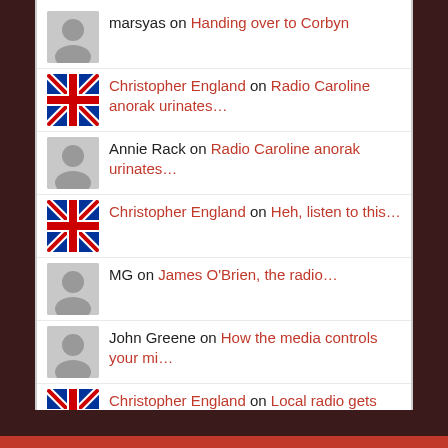marsyas on Handing over to Corbyn
Christopher England on Radio Caroline anorak urinates…
Annie Rack on Radio Caroline anorak urinates…
Christopher England on Heh, listen to this…
MG on James O'Brien, the radio…
John Greene on How the media controls your mi…
Christopher England on Local radio gets presenters bu…